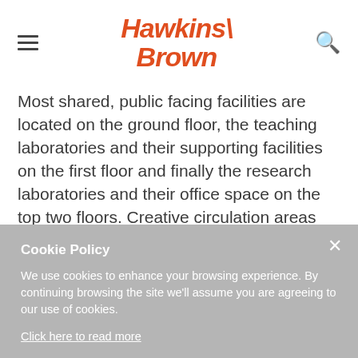Hawkins\Brown
Most shared, public facing facilities are located on the ground floor, the teaching laboratories and their supporting facilities on the first floor and finally the research laboratories and their office space on the top two floors. Creative circulation areas characterise the in-between spaces on all floors which give the users space
Cookie Policy
We use cookies to enhance your browsing experience. By continuing browsing the site we'll assume you are agreeing to our use of cookies.
Click here to read more